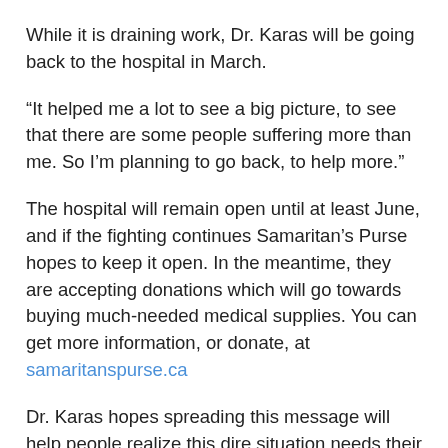While it is draining work, Dr. Karas will be going back to the hospital in March.
“It helped me a lot to see a big picture, to see that there are some people suffering more than me. So I’m planning to go back, to help more.”
The hospital will remain open until at least June, and if the fighting continues Samaritan’s Purse hopes to keep it open. In the meantime, they are accepting donations which will go towards buying much-needed medical supplies. You can get more information, or donate, at samaritanspurse.ca
Dr. Karas hopes spreading this message will help people realize this dire situation needs their assistance, compassion and love. He feels the only way peace can be attained in the region is if people put their differences aside and focus on